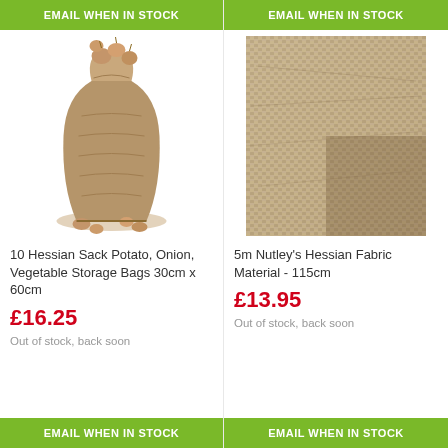EMAIL WHEN IN STOCK
EMAIL WHEN IN STOCK
[Figure (photo): A hessian sack filled with onions/shallots, tied at the top, with some spilled at the base]
[Figure (photo): Close-up texture of hessian/burlap fabric material]
10 Hessian Sack Potato, Onion, Vegetable Storage Bags 30cm x 60cm
5m Nutley's Hessian Fabric Material - 115cm
£16.25
£13.95
Out of stock, back soon
Out of stock, back soon
EMAIL WHEN IN STOCK
EMAIL WHEN IN STOCK